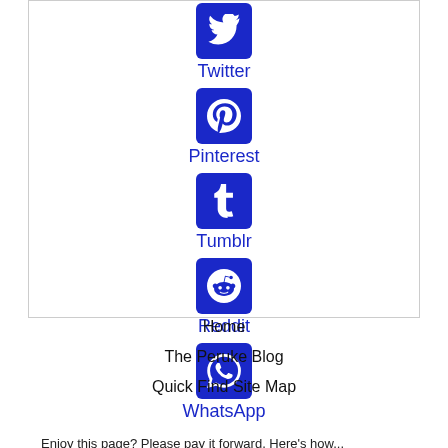[Figure (infographic): Social media sharing icons with labels: Twitter (bird icon), Pinterest (P icon), Tumblr (t icon), Reddit (alien icon), WhatsApp (phone icon), all in dark blue rounded square buttons]
Enjoy this page? Please pay it forward. Here's how...
Home
The Peruke Blog
Quick Find Site Map